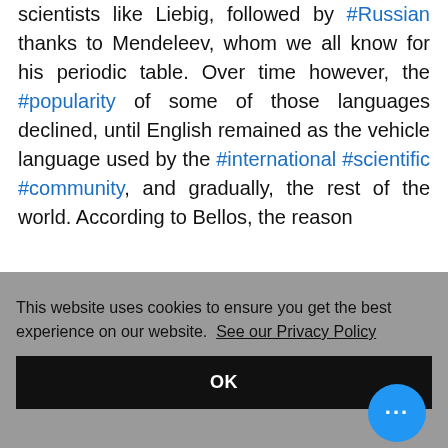scientists like Liebig, followed by #Russian thanks to Mendeleev, whom we all know for his periodic table. Over time however, the #popularity of some of those languages declined, until English remained as the vehicle language used by the #international #scientific #community, and gradually, the rest of the world. According to Bellos, the reason
This website uses cookies to ensure you get the best experience on our website. See our Privacy Policy
OK